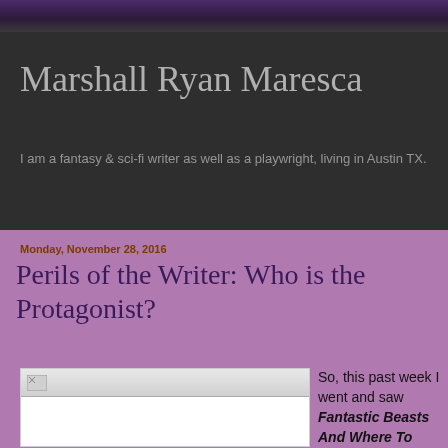Marshall Ryan Maresca
I am a fantasy & sci-fi writer as well as a playwright, living in Austin TX.
Monday, November 28, 2016
Perils of the Writer: Who is the Protagonist?
[Figure (photo): Broken image placeholder in white box with gray header bar]
So, this past week I went and saw Fantastic Beasts And Where To Find Them